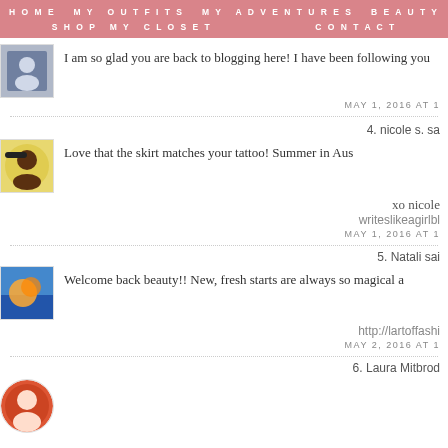HOME   MY OUTFITS   MY ADVENTURES   BEAUTY   SHOP MY CLOSET   CONTACT
I am so glad you are back to blogging here! I have been following you
MAY 1, 2016 AT 1
4. nicole s. sa
Love that the skirt matches your tattoo! Summer in Aus
xo nicole
writeslikeagirlbl
MAY 1, 2016 AT 1
5. Natali sai
Welcome back beauty!! New, fresh starts are always so magical a
http://lartoffashi
MAY 2, 2016 AT 1
6. Laura Mitbrod